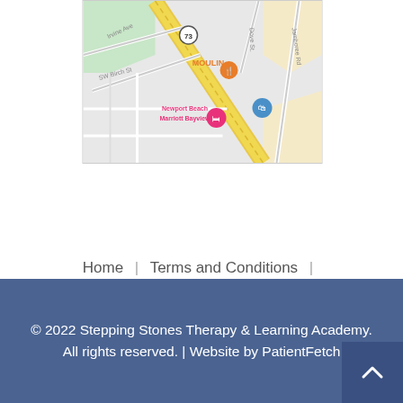[Figure (map): Google Maps snippet showing Newport Beach area near Jamboree Rd with markers for MOULIN restaurant (orange), Newport Beach Marriott Bayview (pink), and a shopping bag icon (blue). Roads include Irvine Ave, SW Birch St, Dove St, Jamboree Rd. Route 73 highway shown diagonally.]
Home | Terms and Conditions | Internet Privacy Policy | Contact
© 2022 Stepping Stones Therapy & Learning Academy. All rights reserved. | Website by PatientFetch